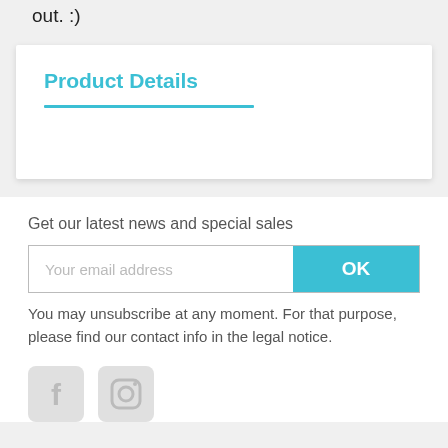out. :)
Product Details
Get our latest news and special sales
Your email address
OK
You may unsubscribe at any moment. For that purpose, please find our contact info in the legal notice.
[Figure (illustration): Facebook and Instagram social media icons in light gray]